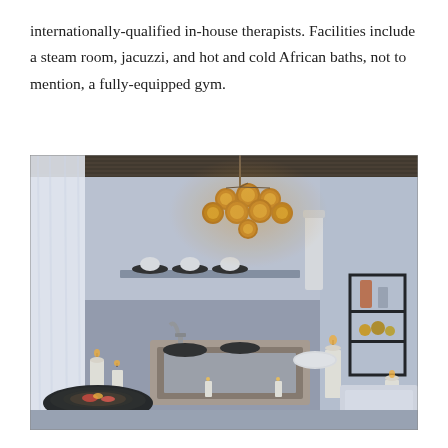internationally-qualified in-house therapists. Facilities include a steam room, jacuzzi, and hot and cold African baths, not to mention, a fully-equipped gym.
[Figure (photo): Luxurious spa bathroom with a large stone bathtub, amber Moroccan-style chandelier with multiple globe lights hanging from a reed ceiling, white plaster walls, candles, black bowls, rolled white towels, a black shelving unit, and sheer white curtains. Atmospheric blue-grey lighting with warm amber glow from the chandelier.]